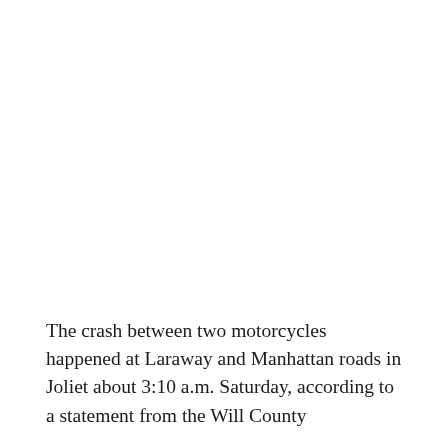The crash between two motorcycles happened at Laraway and Manhattan roads in Joliet about 3:10 a.m. Saturday, according to a statement from the Will County sheriff's office.